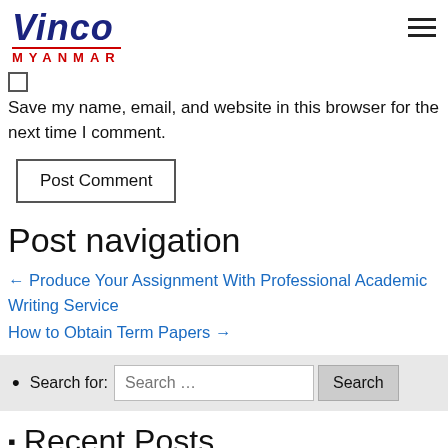Vinco MYANMAR
Save my name, email, and website in this browser for the next time I comment.
Post Comment
Post navigation
← Produce Your Assignment With Professional Academic Writing Service
How to Obtain Term Papers →
Search for: Search …  Search
Recent Posts